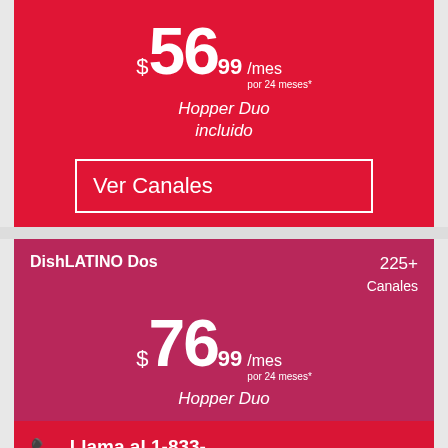$56.99 /mes por 24 meses*
Hopper Duo incluido
Ver Canales
DishLATINO Dos
225+ Canales
$76.99 /mes por 24 meses*
Hopper Duo
Llama al 1-833-748-2351
Ordena en línea